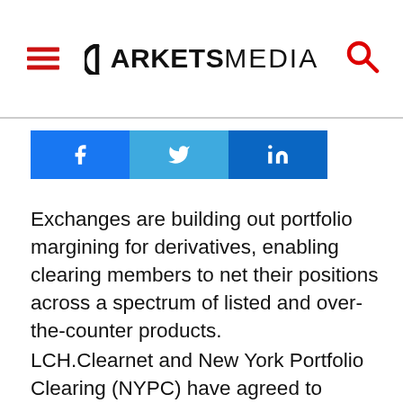MARKETS MEDIA
[Figure (other): Social share buttons: Facebook, Twitter, LinkedIn]
Exchanges are building out portfolio margining for derivatives, enabling clearing members to net their positions across a spectrum of listed and over-the-counter products.
LCH.Clearnet and New York Portfolio Clearing (NYPC) have agreed to explore consolidating their existing combined asset